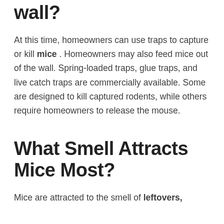wall?
At this time, homeowners can use traps to capture or kill mice . Homeowners may also feed mice out of the wall. Spring-loaded traps, glue traps, and live catch traps are commercially available. Some are designed to kill captured rodents, while others require homeowners to release the mouse.
What Smell Attracts Mice Most?
Mice are attracted to the smell of leftovers,